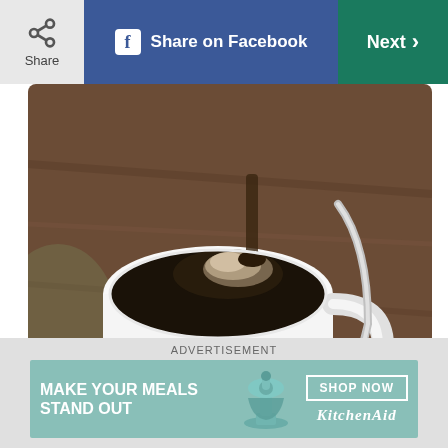Share | Share on Facebook | Next >
[Figure (photo): A white coffee cup and saucer with black coffee being poured in, with a silver spoon, on a wooden table background.]
ISTOCK/ROBERT INGELHART
Avoid caffeine and certain medications
Certain foods (like those that contain caffeine) and medicines (cold and allergy meds that make you
[Figure (infographic): KitchenAid advertisement banner: MAKE YOUR MEALS STAND OUT with a teal stand mixer image and SHOP NOW button with KitchenAid logo.]